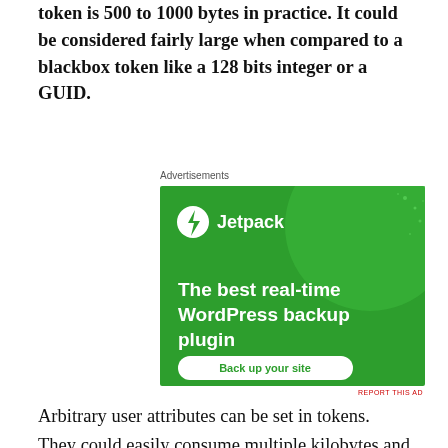token is 500 to 1000 bytes in practice. It could be considered fairly large when compared to a blackbox token like a 128 bits integer or a GUID.
Advertisements
[Figure (other): Jetpack advertisement banner with green background, Jetpack logo, text 'The best real-time WordPress backup plugin' and a 'Back up your site' button]
Arbitrary user attributes can be set in tokens. They could easily consume multiple kilobytes and upward if not careful and that will cause issues down the line.